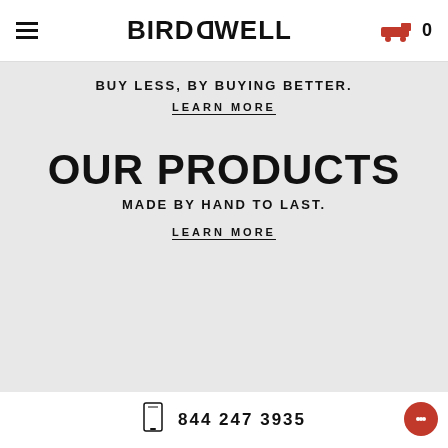BIRDWELL
BUY LESS, BY BUYING BETTER.
LEARN MORE
OUR PRODUCTS
MADE BY HAND TO LAST.
LEARN MORE
NEWSLETTER
ENTER EMAIL ADDRESS
SIGN ME UP
844 247 3935